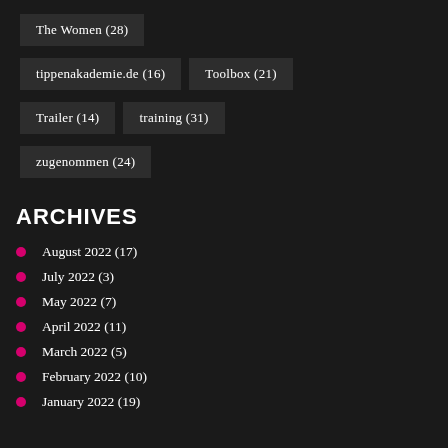The Women (28)
tippenakademie.de (16)
Toolbox (21)
Trailer (14)
training (31)
zugenommen (24)
ARCHIVES
August 2022 (17)
July 2022 (3)
May 2022 (7)
April 2022 (11)
March 2022 (5)
February 2022 (10)
January 2022 (19)